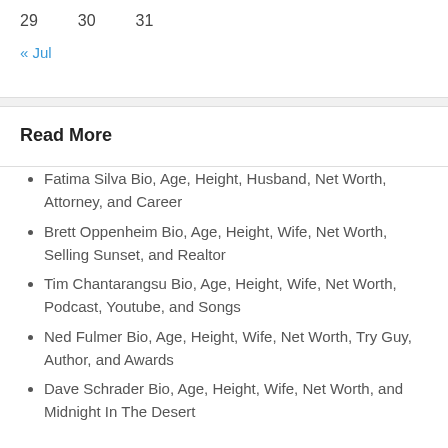29   30   31
« Jul
Read More
Fatima Silva Bio, Age, Height, Husband, Net Worth, Attorney, and Career
Brett Oppenheim Bio, Age, Height, Wife, Net Worth, Selling Sunset, and Realtor
Tim Chantarangsu Bio, Age, Height, Wife, Net Worth, Podcast, Youtube, and Songs
Ned Fulmer Bio, Age, Height, Wife, Net Worth, Try Guy, Author, and Awards
Dave Schrader Bio, Age, Height, Wife, Net Worth, and Midnight In The Desert
© 2022 Meforworld      Theme Material